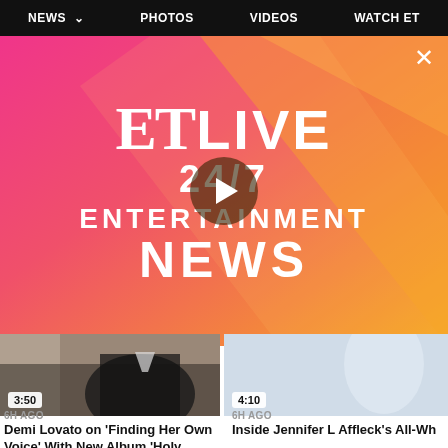NEWS  PHOTOS  VIDEOS  WATCH ET
[Figure (screenshot): ET LIVE 24/7 ENTERTAINMENT NEWS banner with pink-to-orange gradient background, ET logo in serif font, play button overlay]
[Figure (screenshot): Video thumbnail showing person in black leather jacket, duration badge 3:50]
Demi Lovato on 'Finding Her Own Voice' With New Album 'Holy Fvck'...
6H AGO
[Figure (screenshot): Video thumbnail showing light blue background, duration badge 4:10]
Inside Jennifer L Affleck's All-Wh
6H AGO